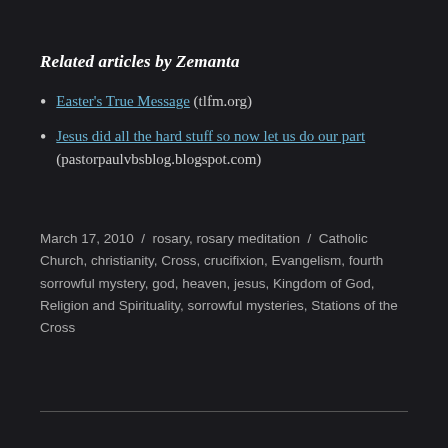Related articles by Zemanta
Easter's True Message (tlfm.org)
Jesus did all the hard stuff so now let us do our part (pastorpaulvbsblog.blogspot.com)
March 17, 2010 / rosary, rosary meditation / Catholic Church, christianity, Cross, crucifixion, Evangelism, fourth sorrowful mystery, god, heaven, jesus, Kingdom of God, Religion and Spirituality, sorrowful mysteries, Stations of the Cross